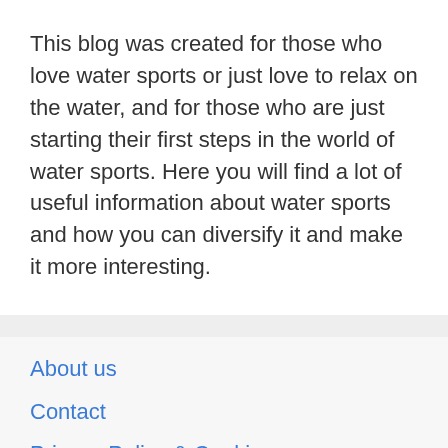This blog was created for those who love water sports or just love to relax on the water, and for those who are just starting their first steps in the world of water sports. Here you will find a lot of useful information about water sports and how you can diversify it and make it more interesting.
About us
Contact
Privacy Policy & Cookies
ATTENTION TO RIGHT HOLDERS! All